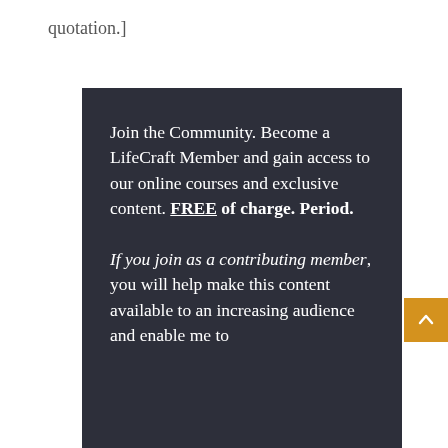quotation.]
Join the Community. Become a LifeCraft Member and gain access to our online courses and exclusive content. It's FREE of charge. Period.

If you join as a contributing member, you will help make this content available to an increasing audience and enable me to